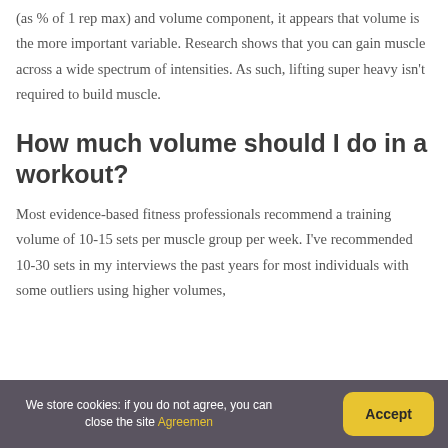(as % of 1 rep max) and volume component, it appears that volume is the more important variable. Research shows that you can gain muscle across a wide spectrum of intensities. As such, lifting super heavy isn't required to build muscle.
How much volume should I do in a workout?
Most evidence-based fitness professionals recommend a training volume of 10-15 sets per muscle group per week. I've recommended 10-30 sets in my interviews the past years for most individuals with some outliers using higher volumes,
We store cookies: if you do not agree, you can close the site Agreemen
Accept